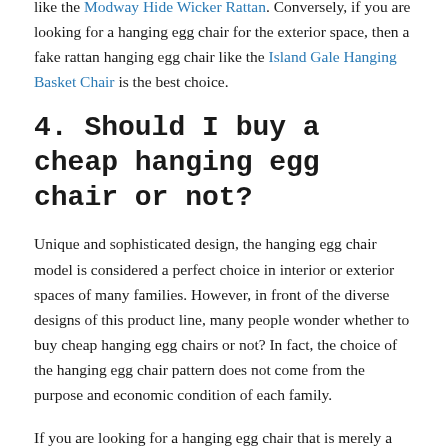like the Modway Hide Wicker Rattan. Conversely, if you are looking for a hanging egg chair for the exterior space, then a fake rattan hanging egg chair like the Island Gale Hanging Basket Chair is the best choice.
4. Should I buy a cheap hanging egg chair or not?
Unique and sophisticated design, the hanging egg chair model is considered a perfect choice in interior or exterior spaces of many families. However, in front of the diverse designs of this product line, many people wonder whether to buy cheap hanging egg chairs or not? In fact, the choice of the hanging egg chair pattern does not come from the purpose and economic condition of each family.
If you are looking for a hanging egg chair that is merely a place to rest - relax, the cheap hanging egg